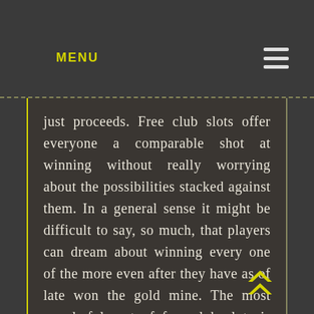MENU
just proceeds. Free club slots offer everyone a comparable shot at winning without really worrying about the possibilities stacked against them. In a general sense it might be difficult to say, so much, that players can dream about winning every one of the more even after they have as of late won the gold mine. The most wonderful part of free club slots is that you do not have to voyage all over looking for a certified